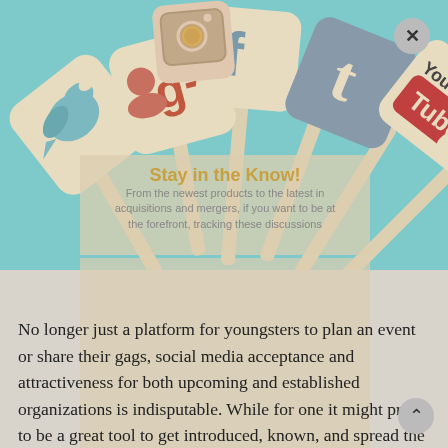[Figure (illustration): Social media icons (Instagram, Facebook, YouTube, Google+, Tumblr, Twitter, LinkedIn thumbs-up) as fan of cards on sticks against teal background]
Stay in the Know!
From the newest products to the latest in acquisitions and mergers, if you want to be at the forefront, tracking these discussions...
No longer just a platform for youngsters to plan an event or share their gags, social media acceptance and attractiveness for both upcoming and established organizations is indisputable. While for one it might prove to be a great tool to get introduced, known, and spread the word, for other it promises an abundant brand engagement and steady brand following.